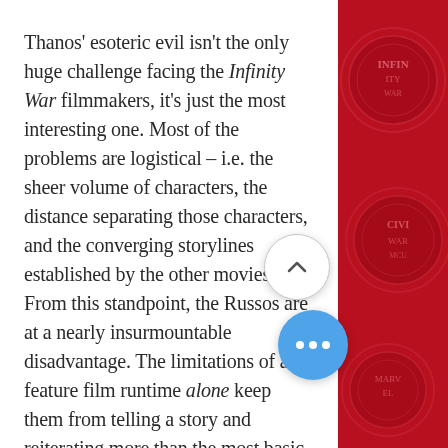Thanos' esoteric evil isn't the only huge challenge facing the Infinity War filmmakers, it's just the most interesting one. Most of the problems are logistical – i.e. the sheer volume of characters, the distance separating those characters, and the converging storylines established by the other movies. From this standpoint, the Russos are at a nearly insurmountable disadvantage. The limitations of a feature film runtime alone keep them from telling a story and reiterating more than the most basic reiteration of what happened on the last 'episode' of the MCU. From scene to scene, they're forced to choose between narrative character development, rationalizing
[Figure (other): Red decorative sidebar with circular emblem patterns on the right side of the page]
[Figure (other): White circular scroll-up button with chevron/caret arrow pointing upward]
[Figure (other): Blue circular 'more options' button with three white dots]